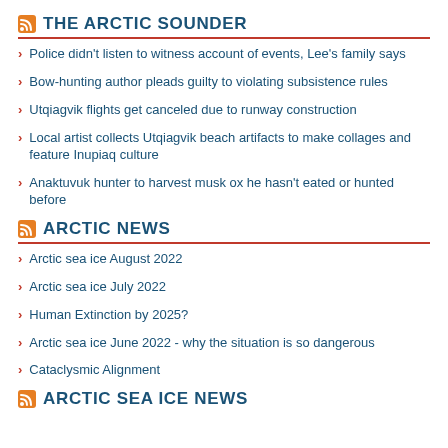THE ARCTIC SOUNDER
Police didn't listen to witness account of events, Lee's family says
Bow-hunting author pleads guilty to violating subsistence rules
Utqiagvik flights get canceled due to runway construction
Local artist collects Utqiagvik beach artifacts to make collages and feature Inupiaq culture
Anaktuvuk hunter to harvest musk ox he hasn't eated or hunted before
ARCTIC NEWS
Arctic sea ice August 2022
Arctic sea ice July 2022
Human Extinction by 2025?
Arctic sea ice June 2022 - why the situation is so dangerous
Cataclysmic Alignment
ARCTIC SEA ICE NEWS